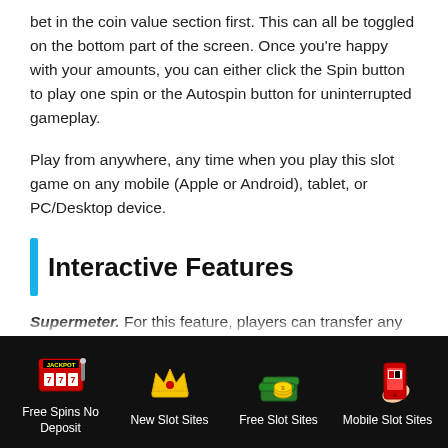bet in the coin value section first. This can all be toggled on the bottom part of the screen. Once you're happy with your amounts, you can either click the Spin button to play one spin or the Autospin button for uninterrupted gameplay.
Play from anywhere, any time when you play this slot game on any mobile (Apple or Android), tablet, or PC/Desktop device.
Interactive Features
Supermeter. For this feature, players can transfer any wins made into the supermeter. Doing so can double the bets made during the main game or round, but this also gives players more chances to win.
[Figure (infographic): Footer navigation bar with four icons: Free Spins No Deposit (slot machine with JACKPOT 777), New Slot Sites (gold crown), Free Slot Sites (money/cash stack), Mobile Slot Sites (red smartphone)]